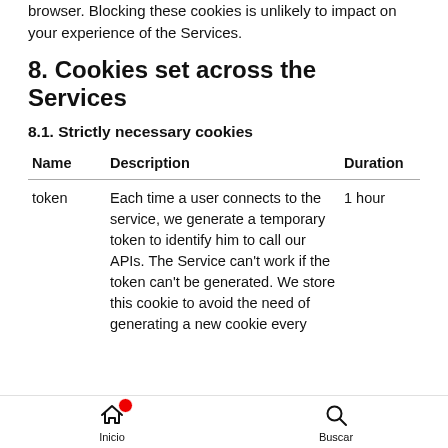browser. Blocking these cookies is unlikely to impact on your experience of the Services.
8. Cookies set across the Services
8.1. Strictly necessary cookies
| Name | Description | Duration |
| --- | --- | --- |
| token | Each time a user connects to the service, we generate a temporary token to identify him to call our APIs. The Service can't work if the token can't be generated. We store this cookie to avoid the need of generating a new cookie every ti… | 1 hour |
Inicio   Buscar